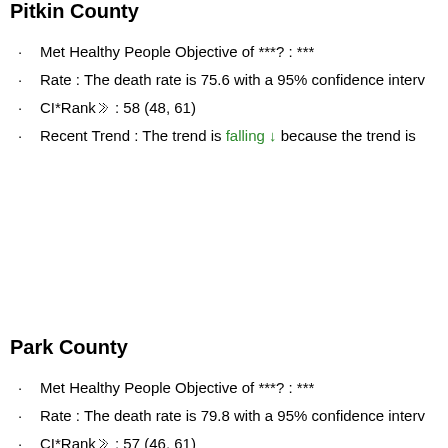Pitkin County
Met Healthy People Objective of ***?: ***
Rate : The death rate is 75.6 with a 95% confidence interv
CI*Rank⋕ : 58 (48, 61)
Recent Trend : The trend is falling ↓ because the trend is
Park County
Met Healthy People Objective of ***?: ***
Rate : The death rate is 79.8 with a 95% confidence interv
CI*Rank⋕ : 57 (46, 61)
Recent Trend : The trend is stable → because the trend is
Routt County
Met Healthy People Objective of ***?: ***
Rate : The death rate is 94.0 with a 95% confidence interv
CI*Rank⋕ : 56 (37, 60)
Recent Trend : The trend is falling ↓ because the trend is